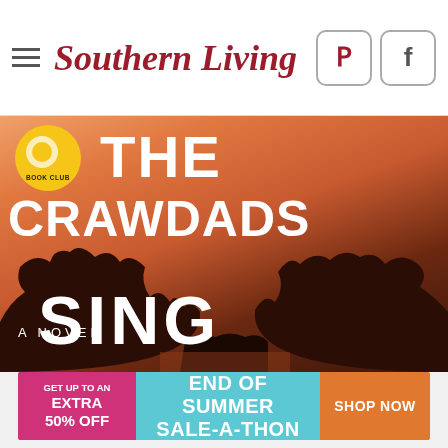Southern Living
[Figure (photo): Book cover of 'Where the Crawdads Sing' - a novel by Delia Owens, showing an orange sunset over silhouetted trees and water, with a Book Club badge in the upper left corner. Large white text reads THE CRAWDADS SING with 'A NOVEL' at the bottom.]
[Figure (infographic): Advertisement banner: pink section on left reading 'GET UP TO AN EXTRA 50% OFF', teal center reading 'END OF SUMMER SALE-A-THON', orange right button reading 'SHOP NOW']